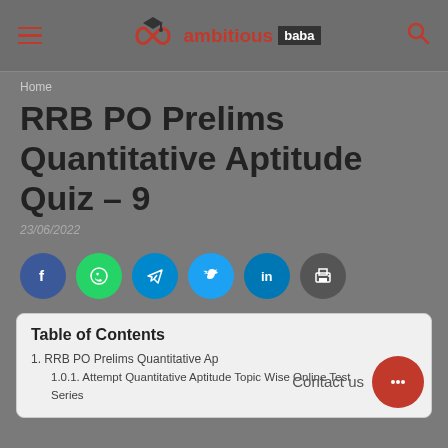ambitious baba — navigation header
Home
RRB PO Prelims Quantitative Aptitude Quiz – 9
23/06/2022
[Figure (infographic): Social media share buttons: Facebook, WhatsApp, Telegram, Twitter, LinkedIn, Print]
Table of Contents
1. RRB PO Prelims Quantitative Ap
1.0.1. Attempt Quantitative Aptitude Topic Wise Online Test Series